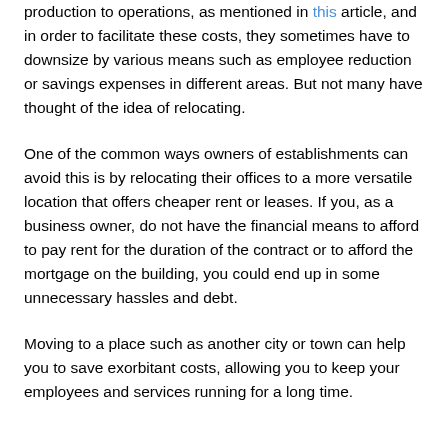production to operations, as mentioned in this article, and in order to facilitate these costs, they sometimes have to downsize by various means such as employee reduction or savings expenses in different areas. But not many have thought of the idea of relocating.
One of the common ways owners of establishments can avoid this is by relocating their offices to a more versatile location that offers cheaper rent or leases. If you, as a business owner, do not have the financial means to afford to pay rent for the duration of the contract or to afford the mortgage on the building, you could end up in some unnecessary hassles and debt.
Moving to a place such as another city or town can help you to save exorbitant costs, allowing you to keep your employees and services running for a long time.